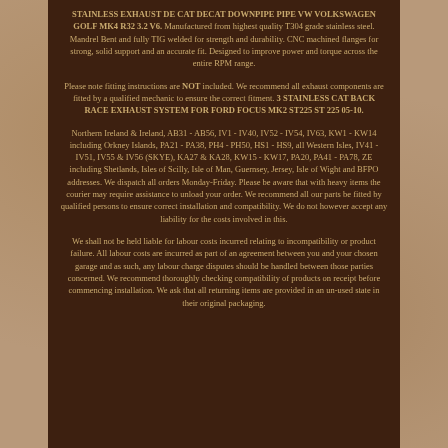STAINLESS EXHAUST DE CAT DECAT DOWNPIPE PIPE VW VOLKSWAGEN GOLF MK4 R32 3.2 V6. Manufactured from highest quality T304 grade stainless steel. Mandrel Bent and fully TIG welded for strength and durability. CNC machined flanges for strong, solid support and an accurate fit. Designed to improve power and torque across the entire RPM range.
Please note fitting instructions are NOT included. We recommend all exhaust components are fitted by a qualified mechanic to ensure the correct fitment. 3 STAINLESS CAT BACK RACE EXHAUST SYSTEM FOR FORD FOCUS MK2 ST225 ST 225 05-10.
Northern Ireland & Ireland, AB31 - AB56, IV1 - IV40, IV52 - IV54, IV63, KW1 - KW14 including Orkney Islands, PA21 - PA38, PH4 - PH50, HS1 - HS9, all Western Isles, IV41 - IV51, IV55 & IV56 (SKYE), KA27 & KA28, KW15 - KW17, PA20, PA41 - PA78, ZE including Shetlands, Isles of Scilly, Isle of Man, Guernsey, Jersey, Isle of Wight and BFPO addresses. We dispatch all orders Monday-Friday. Please be aware that with heavy items the courier may require assistance to unload your order. We recommend all our parts be fitted by qualified persons to ensure correct installation and compatibility. We do not however accept any liability for the costs involved in this.
We shall not be held liable for labour costs incurred relating to incompatibility or product failure. All labour costs are incurred as part of an agreement between you and your chosen garage and as such, any labour charge disputes should be handled between those parties concerned. We recommend thoroughly checking compatibility of products on receipt before commencing installation. We ask that all returning items are provided in an un-used state in their original packaging.